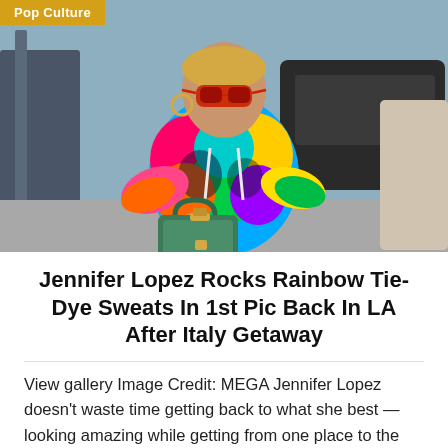[Figure (photo): Jennifer Lopez wearing a rainbow tie-dye hoodie and red sunglasses, carrying a green Hermès Birkin bag, photographed outdoors in Los Angeles with a dark SUV in the background.]
Pop Culture
Jennifer Lopez Rocks Rainbow Tie-Dye Sweats In 1st Pic Back In LA After Italy Getaway
View gallery Image Credit: MEGA Jennifer Lopez doesn't waste time getting back to what she best — looking amazing while getting from one place to the next! Fresh off her Italian getaway, the Marry Me star and brand-new bride stepped out in Los